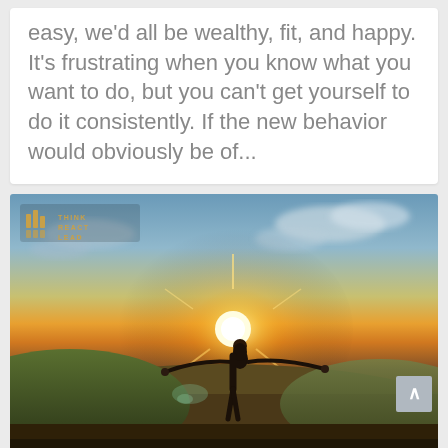easy, we'd all be wealthy, fit, and happy. It's frustrating when you know what you want to do, but you can't get yourself to do it consistently. If the new behavior would obviously be of...
[Figure (photo): Woman standing on a hilltop with arms outstretched facing a bright sunset, with a landscape view behind her. Think React Lead logo overlaid in top left corner.]